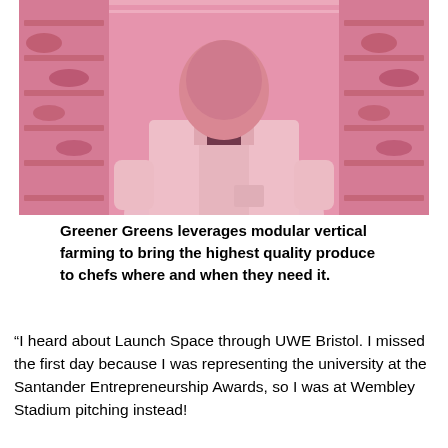[Figure (photo): A person wearing a white lab coat standing in a room with pink/magenta LED grow lights, surrounded by vertical farming shelving units with plants. The pink-tinted lighting gives a strong magenta hue to the entire image.]
Greener Greens leverages modular vertical farming to bring the highest quality produce to chefs where and when they need it.
“I heard about Launch Space through UWE Bristol. I missed the first day because I was representing the university at the Santander Entrepreneurship Awards, so I was at Wembley Stadium pitching instead!